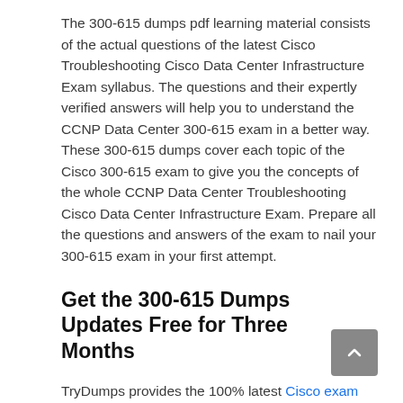The 300-615 dumps pdf learning material consists of the actual questions of the latest Cisco Troubleshooting Cisco Data Center Infrastructure Exam syllabus. The questions and their expertly verified answers will help you to understand the CCNP Data Center 300-615 exam in a better way. These 300-615 dumps cover each topic of the Cisco 300-615 exam to give you the concepts of the whole CCNP Data Center Troubleshooting Cisco Data Center Infrastructure Exam. Prepare all the questions and answers of the exam to nail your 300-615 exam in your first attempt.
Get the 300-615 Dumps Updates Free for Three Months
TryDumps provides the 100% latest Cisco exam dumps verified by the experts to help...